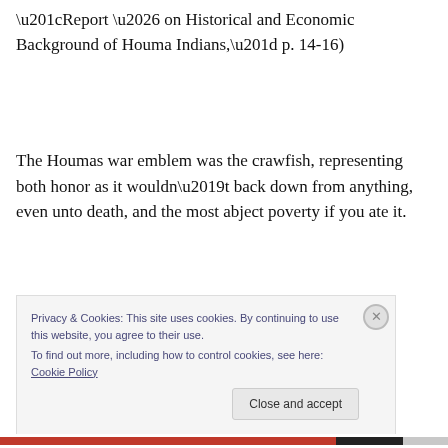“Report … on Historical and Economic Background of Houma Indians,” p. 14-16)
The Houmas war emblem was the crawfish, representing both honor as it wouldn’t back down from anything, even unto death, and the most abject poverty if you ate it.
[Figure (photo): A black-and-white photograph partially visible behind a cookie consent banner, showing what appears to be trees or foliage.]
Privacy & Cookies: This site uses cookies. By continuing to use this website, you agree to their use.
To find out more, including how to control cookies, see here: Cookie Policy